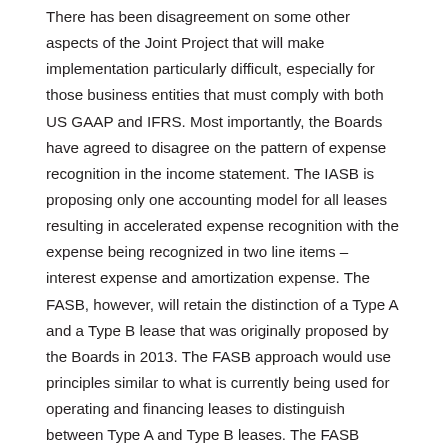There has been disagreement on some other aspects of the Joint Project that will make implementation particularly difficult, especially for those business entities that must comply with both US GAAP and IFRS. Most importantly, the Boards have agreed to disagree on the pattern of expense recognition in the income statement. The IASB is proposing only one accounting model for all leases resulting in accelerated expense recognition with the expense being recognized in two line items – interest expense and amortization expense. The FASB, however, will retain the distinction of a Type A and a Type B lease that was originally proposed by the Boards in 2013. The FASB approach would use principles similar to what is currently being used for operating and financing leases to distinguish between Type A and Type B leases. The FASB model would result in most leases having expense being recognized on a straight- line basis with the straight line expense being classified as lease expense.
For many retailers, the effect to adopt the new lease...